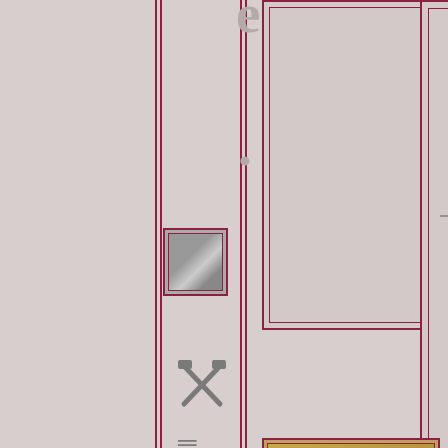[Figure (screenshot): Website page showing a furniture catalog. Partial view with vertical navigation, framed boxes, thumbnails of wooden furniture (desk/cabinet pieces), and text identifying 'The Palmerston' product by Grandche. Navigation numbers 1, 2, 3 and 'Ne' (Next) visible. Hammer/tools icon and equals sign visible. Large dark red letters on left sidebar.]
o n
1 2 3
Ne
The Palmerston
by
Grandche